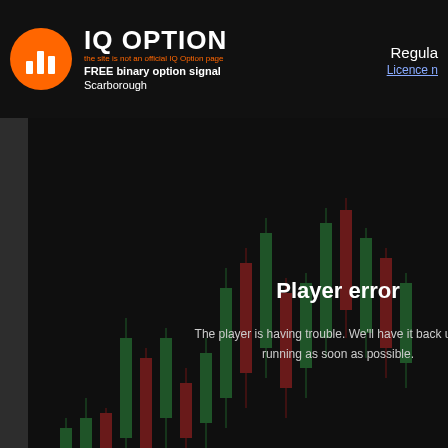IQ OPTION – FREE binary option signal Scarborough | Regula – Licence n…
[Figure (screenshot): Video player showing 'Player error' message overlaid on a candlestick chart background. Text reads: 'Player error – The player is having trouble. We'll have it back up and running as soon as possible.']
Three Black Crows